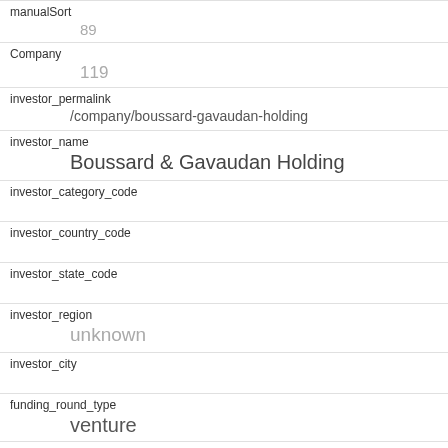manualSort
89
Company
119
investor_permalink
/company/boussard-gavaudan-holding
investor_name
Boussard & Gavaudan Holding
investor_category_code
investor_country_code
investor_state_code
investor_region
unknown
investor_city
funding_round_type
venture